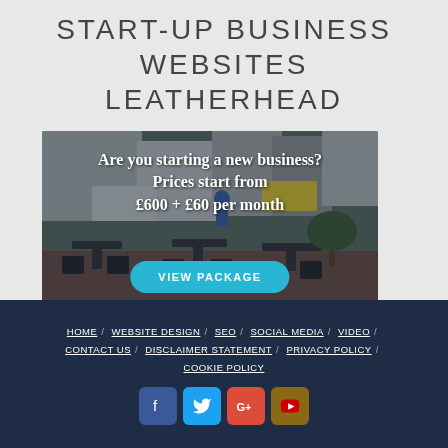START-UP BUSINESS WEBSITES LEATHERHEAD
[Figure (photo): Outdoor cafe/restaurant seating area with tables and chairs, overlaid with promotional text: 'Are you starting a new business? Prices start from £600 + £60 per month' and a 'VIEW PACKAGE' button]
HOME / WEBSITE DESIGN / SEO / SOCIAL MEDIA / VIDEO / CONTACT US / DISCLAIMER STATEMENT / PRIVACY POLICY / COOKIE POLICY — social icons: Facebook, Twitter, Google+, YouTube